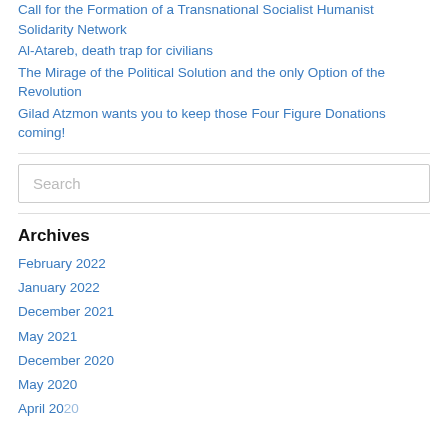Call for the Formation of a Transnational Socialist Humanist Solidarity Network
Al-Atareb, death trap for civilians
The Mirage of the Political Solution and the only Option of the Revolution
Gilad Atzmon wants you to keep those Four Figure Donations coming!
Search
Archives
February 2022
January 2022
December 2021
May 2021
December 2020
May 2020
April 2020